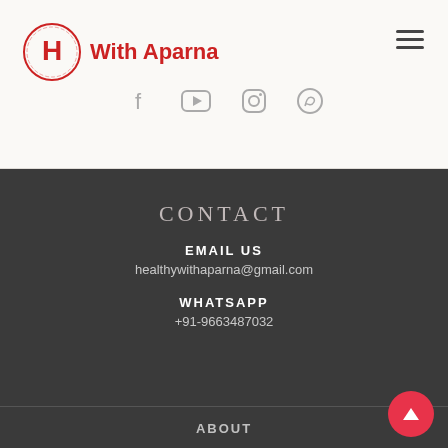[Figure (logo): H With Aparna logo - red circle with H letter and text 'With Aparna']
[Figure (other): Hamburger menu icon (three horizontal bars)]
[Figure (other): Social media icons: Facebook, YouTube, Instagram, WhatsApp in grey]
CONTACT
EMAIL US
healthywithaparna@gmail.com
WHATSAPP
+91-9663487032
ABOUT